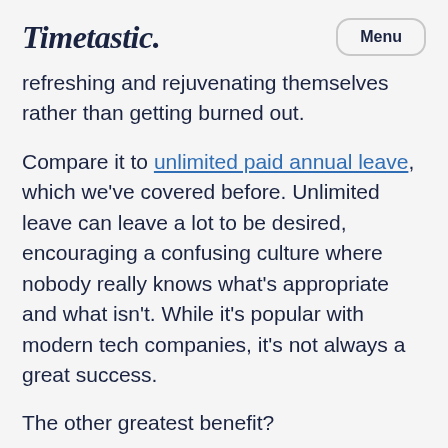Timetastic. Menu
refreshing and rejuvenating themselves rather than getting burned out.
Compare it to unlimited paid annual leave, which we've covered before. Unlimited leave can leave a lot to be desired, encouraging a confusing culture where nobody really knows what's appropriate and what isn't. While it's popular with modern tech companies, it's not always a great success.
The other greatest benefit?
A company culture that respects its workers.